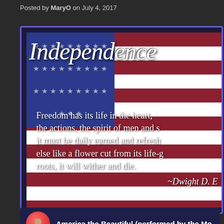Posted by MaryO on July 4, 2017
[Figure (illustration): Independence Day patriotic image with American flag background showing stars and red/white/blue stripes. Title reads 'Independence' in decorative italic script. Quote: 'Freedom has its life in the hearts, the actions, the spirit of men and so it must be daily earned and refreshed - else like a flower cut from its life-giving roots, it will wither and die. ~Dwight D. Eisenhower']
[Figure (screenshot): Video thumbnail card showing a circular avatar photo and title 'America the Beautiful (performed by the Mo...' on dark blue background with star border elements]